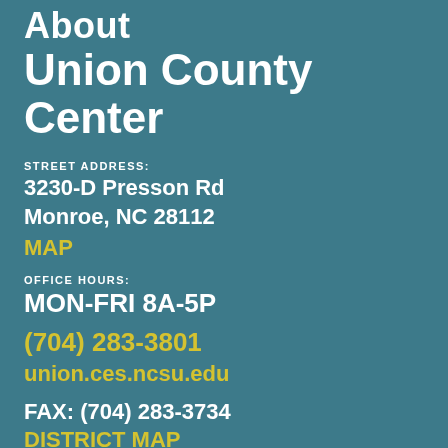About Union County Center
STREET ADDRESS:
3230-D Presson Rd
Monroe, NC 28112
MAP
OFFICE HOURS:
MON-FRI 8A-5P
(704) 283-3801
union.ces.ncsu.edu
FAX: (704) 283-3734
DISTRICT MAP
N.C. Cooperative Extension partners with communities to deliver education and technology that enrich the lives, land and